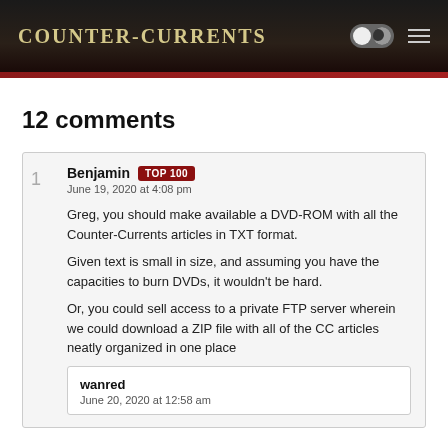Counter-Currents
12 comments
Benjamin TOP 100
June 19, 2020 at 4:08 pm

Greg, you should make available a DVD-ROM with all the Counter-Currents articles in TXT format.

Given text is small in size, and assuming you have the capacities to burn DVDs, it wouldn't be hard.

Or, you could sell access to a private FTP server wherein we could download a ZIP file with all of the CC articles neatly organized in one place
wanred
June 20, 2020 at 12:58 am